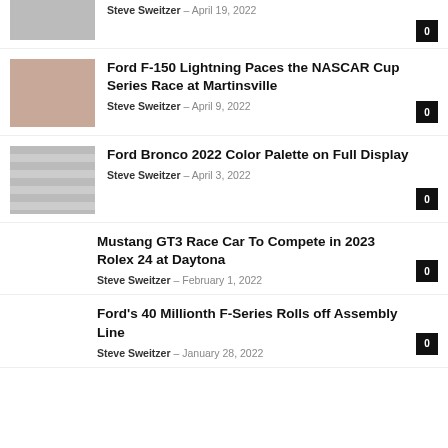[Figure (photo): Partial car image at top, cropped]
Steve Sweitzer - April 19, 2022
[Figure (photo): Red/orange truck thumbnail]
Ford F-150 Lightning Paces the NASCAR Cup Series Race at Martinsville
Steve Sweitzer - April 9, 2022
[Figure (photo): Gray bars / building structure thumbnail]
Ford Bronco 2022 Color Palette on Full Display
Steve Sweitzer - April 3, 2022
Mustang GT3 Race Car To Compete in 2023 Rolex 24 at Daytona
Steve Sweitzer - February 1, 2022
Ford's 40 Millionth F-Series Rolls off Assembly Line
Steve Sweitzer - January 28, 2022